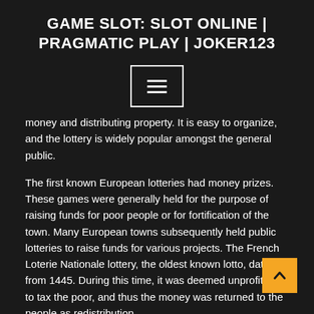GAME SLOT: SLOT ONLINE | PRAGMATIC PLAY | JOKER123
[Figure (other): Hamburger menu button with three horizontal lines, bordered rectangle, centered on dark background]
money and distributing property. It is easy to organize, and the lottery is widely popular amongst the general public.
The first known European lotteries had money prizes. These games were generally held for the purpose of raising funds for poor people or for fortification of the town. Many European towns subsequently held public lotteries to raise funds for various projects. The French Loterie Nationale lottery, the oldest known lotto, dates from 1445. During this time, it was deemed unprofitable to tax the poor, and thus the money was returned to the people as redistribution.
While a national lottery generates revenue for the